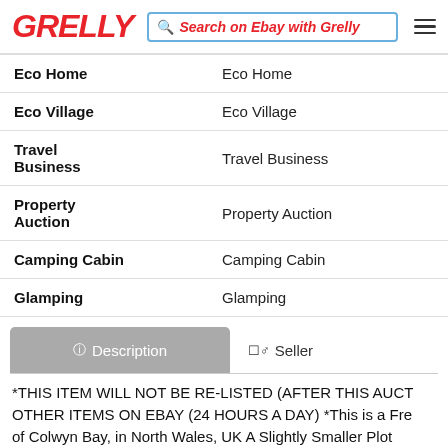GRELLY — Search on Ebay with Grelly
| Eco Home | Eco Home |
| Eco Village | Eco Village |
| Travel Business | Travel Business |
| Property Auction | Property Auction |
| Camping Cabin | Camping Cabin |
| Glamping | Glamping |
Description | Seller
*THIS ITEM WILL NOT BE RE-LISTED (AFTER THIS AUCTION) OTHER ITEMS ON EBAY (24 HOURS A DAY) *This is a Fre... of Colwyn Bay, in North Wales, UK A Slightly Smaller Plot...